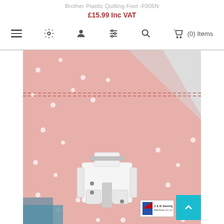Brother Plastic Quilting Foot -F005N
£15.99 Inc VAT
[Figure (photo): Close-up photo of a white plastic quilting sewing machine foot (Brother F005N) placed on pink polka-dot patterned quilted fabric. The white plastic presser foot has visible metal bar and openings. A J & B Sewing Machine Co Ltd logo badge is visible in the bottom-right corner of the image. A teal scroll-to-top button with an upward arrow is overlaid in the bottom-right area.]